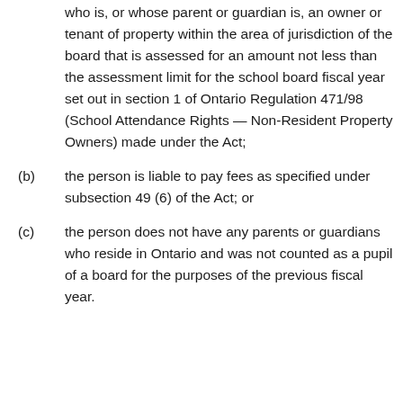who is, or whose parent or guardian is, an owner or tenant of property within the area of jurisdiction of the board that is assessed for an amount not less than the assessment limit for the school board fiscal year set out in section 1 of Ontario Regulation 471/98 (School Attendance Rights — Non-Resident Property Owners) made under the Act;
(b) the person is liable to pay fees as specified under subsection 49 (6) of the Act; or
(c) the person does not have any parents or guardians who reside in Ontario and was not counted as a pupil of a board for the purposes of the previous fiscal year.